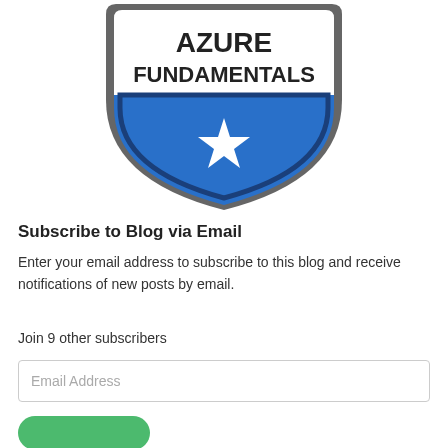[Figure (logo): Azure Fundamentals certification badge — shield shape with gray outline, white upper section containing text 'AZURE FUNDAMENTALS' in bold black, lower blue shield section with white star in center and dark navy border trim.]
Subscribe to Blog via Email
Enter your email address to subscribe to this blog and receive notifications of new posts by email.
Join 9 other subscribers